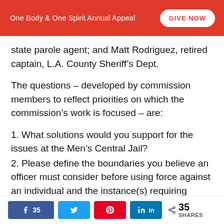One Body & One Spirit Annual Appeal | GIVE NOW
state parole agent; and Matt Rodriguez, retired captain, L.A. County Sheriff's Dept.
The questions – developed by commission members to reflect priorities on which the commission's work is focused – are:
1. What solutions would you support for the issues at the Men's Central Jail?
2. Please define the boundaries you believe an officer must consider before using force against an individual and the instance(s) requiring
35 (Facebook) | Twitter | Pinterest | LinkedIn | < 35 SHARES